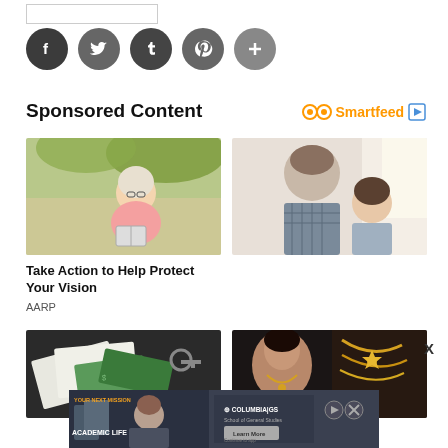[Figure (screenshot): Input box / form field at top left]
[Figure (infographic): Row of 5 social sharing icons: Facebook (dark), Twitter (dark), Tumblr (dark), Pinterest (dark), More/Plus (dark) — all circular buttons]
Sponsored Content
[Figure (logo): Smartfeed logo with orange infinity/eye symbol and orange text 'Smartfeed' followed by blue play icon]
[Figure (photo): Older blonde woman in glasses sitting in a hammock outdoors reading a book, wearing a pink top]
[Figure (photo): Father and daughter looking at something together, indoor scene with bright window light]
Take Action to Help Protect Your Vision
AARP
[Figure (photo): Cash money and documents on a dark surface — financial/money themed image]
[Figure (photo): Young woman with gold jewelry necklaces on display — jewelry store scene]
[Figure (screenshot): Columbia GS School of General Studies advertisement banner — 'Your Next Mission Academic Life' with Learn More button]
X